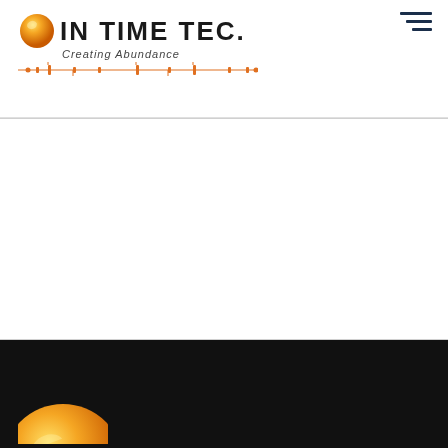[Figure (logo): In Time Tec logo with orange orb and circuit board design, subtitle 'Creating Abundance']
[Figure (illustration): Hamburger menu icon with three horizontal lines in dark navy color, top right corner]
[Figure (illustration): Dark black footer section with partial orange orb visible at bottom left]